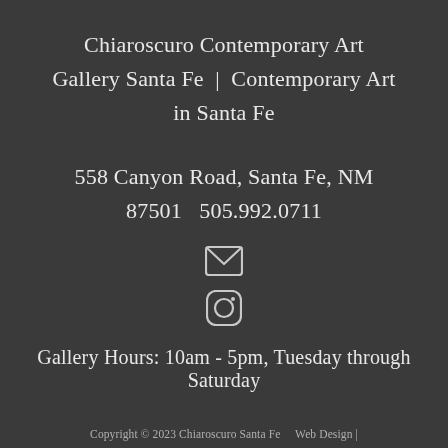Chiaroscuro Contemporary Art Gallery Santa Fe | Contemporary Art in Santa Fe
558 Canyon Road, Santa Fe, NM 87501  505.992.0711
[Figure (illustration): Email envelope icon (white outline)]
[Figure (illustration): Instagram logo icon (white circle with camera outline)]
Gallery Hours: 10am - 5pm, Tuesday through Saturday
Copyright © 2023 Chiaroscuro Santa Fe    Web Design |